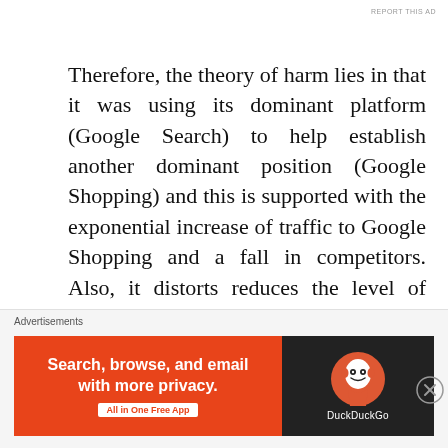REPORT THIS AD
Therefore, the theory of harm lies in that it was using its dominant platform (Google Search) to help establish another dominant position (Google Shopping) and this is supported with the exponential increase of traffic to Google Shopping and a fall in competitors. Also, it distorts reduces the level of relevancy in search results by displaying certain products over others.
Commentary:
[Figure (screenshot): DuckDuckGo advertisement banner with orange left panel reading 'Search, browse, and email with more privacy. All in One Free App' and dark right panel with DuckDuckGo logo and name.]